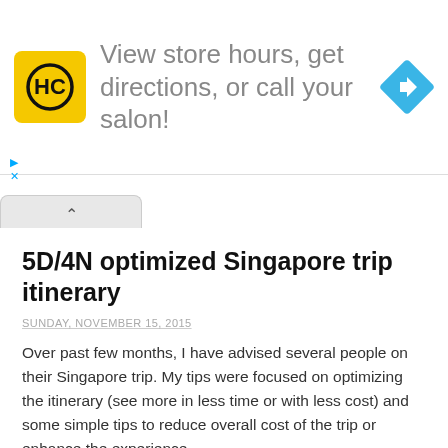[Figure (other): Advertisement banner for a salon/store locator. Yellow HC logo on left, text 'View store hours, get directions, or call your salon!' in grey, blue diamond direction arrow icon on right.]
5D/4N optimized Singapore trip itinerary
SUNDAY, NOVEMBER 15, 2015
Over past few months, I have advised several people on their Singapore trip. My tips were focused on optimizing the itinerary (see more in less time or with less cost) and some simple tips to reduce overall cost of the trip or enhance the experience.
Usually people book packages with online travel portals like MMT. I checked Singapore travel packages